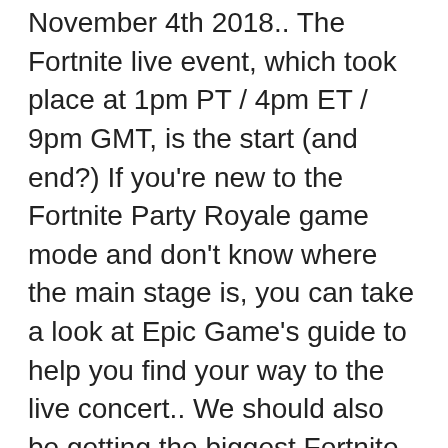November 4th 2018.. The Fortnite live event, which took place at 1pm PT / 4pm ET / 9pm GMT, is the start (and end?) If you're new to the Fortnite Party Royale game mode and don't know where the main stage is, you can take a look at Epic Game's guide to help you find your way to the live concert.. We should also be getting the biggest Fortnite live event to close out Fortnite season 4. Fortnite: Chapter 2 – Season 3 is free-to-play on PC via the Epic Games Store, PlayStation 4, Xbox One, Nintendo Switch, and Android. It's a tough competition in social media, however. Découvrez ou proposez vos meilleures créations - Fortnite Créatif - Goodnite.fr. This could be another reason … Fortnite Live Gameplay - Event Countdown, Squads, Creative, and Tournament Prequalifiers. You and your friends will lead a group of Heroes